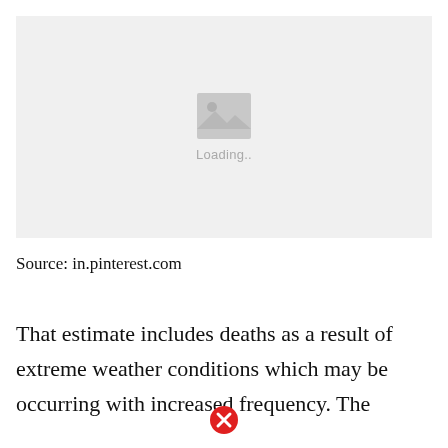[Figure (photo): Image placeholder with loading indicator showing a grey box with a mountain/image icon and 'Loading..' text beneath it]
Source: in.pinterest.com
That estimate includes deaths as a result of extreme weather conditions which may be occurring with increased frequency. The